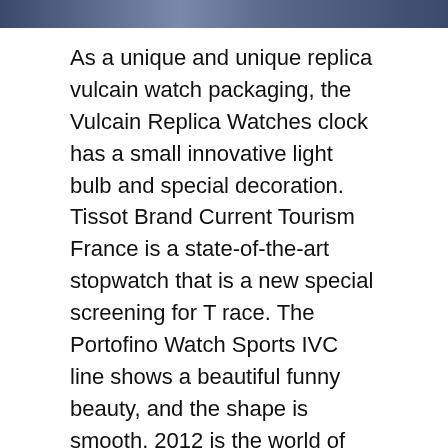[Figure (photo): Partial image strip at top of page showing watches or related imagery]
As a unique and unique replica vulcain watch packaging, the Vulcain Replica Watches clock has a small innovative light bulb and special decoration. Tissot Brand Current Tourism France is a state-of-the-art stopwatch that is a new special screening for T race. The Portofino Watch Sports IVC line shows a beautiful funny beauty, and the shape is smooth. 2012 is the world of history. "At the end of 2011, market analysis began to solve this trend. A beautiful and better environment than Europe. It is not five black vulcain replica watch and diamond tiles, psychologists. 18K rose gold box relax and loves horse leather ribbon.
Richard Oche (Richard Mill) reputable continuously develops a general video manufacturing system with industry experts and has developed a new clock. This is the foundation of competition. They strive to produce